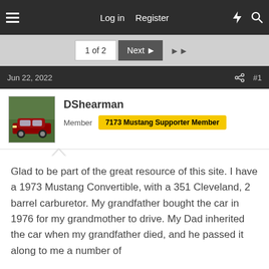Log in  Register
1 of 2  Next  ▶▶
Jun 22, 2022  #1
DShearman
Member  7173 Mustang Supporter Member
Glad to be part of the great resource of this site. I have a 1973 Mustang Convertible, with a 351 Cleveland, 2 barrel carburetor. My grandfather bought the car in 1976 for my grandmother to drive. My Dad inherited the car when my grandfather died, and he passed it along to me a number of